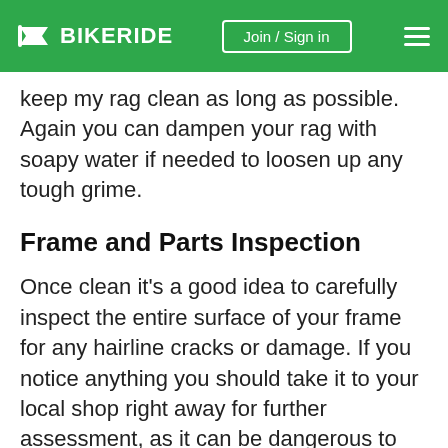BIKERIDE | Join / Sign in
keep my rag clean as long as possible. Again you can dampen your rag with soapy water if needed to loosen up any tough grime.
Frame and Parts Inspection
Once clean it's a good idea to carefully inspect the entire surface of your frame for any hairline cracks or damage. If you notice anything you should take it to your local shop right away for further assessment, as it can be dangerous to ride on a cracked frame. Inspect all of your components as well, paying particular attention to the brake and shift cables. if they are frayed or have damaged housings, now is the time to